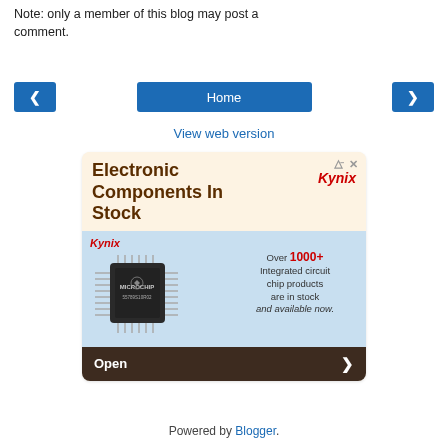Note: only a member of this blog may post a comment.
< Home >
View web version
[Figure (screenshot): Advertisement for Kynix Electronic Components In Stock, showing a microchip image, Kynix logo, text 'Over 1000+ Integrated circuit chip products are in stock and available now', with an Open button at the bottom.]
Powered by Blogger.